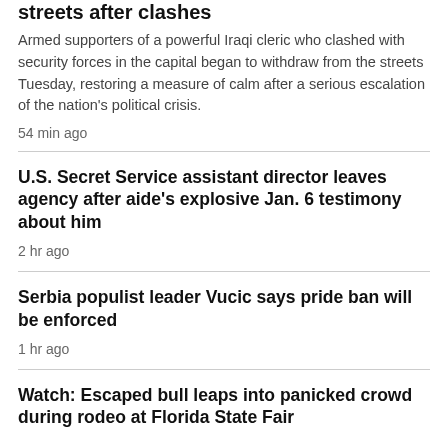streets after clashes
Armed supporters of a powerful Iraqi cleric who clashed with security forces in the capital began to withdraw from the streets Tuesday, restoring a measure of calm after a serious escalation of the nation's political crisis.
54 min ago
U.S. Secret Service assistant director leaves agency after aide's explosive Jan. 6 testimony about him
2 hr ago
Serbia populist leader Vucic says pride ban will be enforced
1 hr ago
Watch: Escaped bull leaps into panicked crowd during rodeo at Florida State Fair